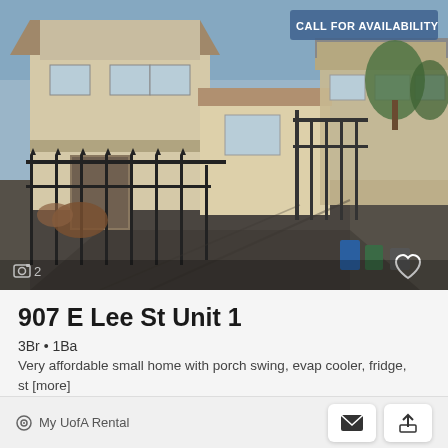[Figure (photo): Exterior photo of a single-story residential home with iron fencing, paved driveway, and neighboring buildings visible in the background.]
907 E Lee St Unit 1
3Br • 1Ba
Very affordable small home with porch swing, evap cooler, fridge, st [more]
3  1  681.00 ft²
My UofA Rental